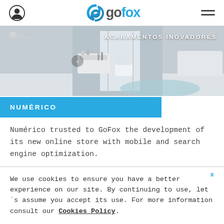GoFox navigation bar with person icon, GoFox logo, and hamburger menu
[Figure (photo): Interior photo of a children's bedroom with white furniture, soft toys, and a light-colored rug. Text overlay reads 'ACABAMENTOS INOVADORES']
NUMÉRICO
Numérico trusted to GoFox the development of its new online store with mobile and search engine optimization.
We use cookies to ensure you have a better experience on our site. By continuing to use, let's assume you accept its use. For more information consult our Cookies Policy.